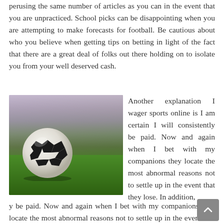perusing the same number of articles as you can in the event that you are unpracticed. School picks can be disappointing when you are attempting to make forecasts for football. Be cautious about who you believe when getting tips on betting in light of the fact that there are a great deal of folks out there holding on to isolate you from your well deserved cash.
[Figure (photo): A soccer ball on a grass field with a blurred stadium crowd in the background]
Another explanation I wager sports online is I am certain I will consistently be paid. Now and again when I bet with my companions they locate the most abnormal reasons not to settle up in the event that they lose. In addition, you truly would prefer not to lose a companion over a